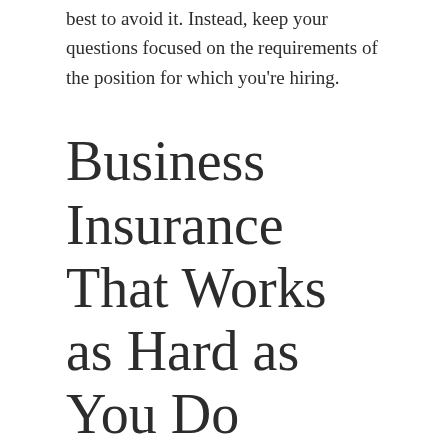best to avoid it. Instead, keep your questions focused on the requirements of the position for which you're hiring.
Business Insurance That Works as Hard as You Do
You've worked hard to build your business and your team. But these days, hiring, firing and day-to-day employee management can be risky. If a claim is made against your business, you could spend